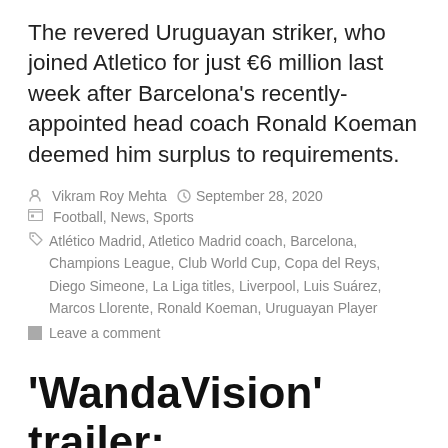The revered Uruguayan striker, who joined Atletico for just €6 million last week after Barcelona's recently-appointed head coach Ronald Koeman deemed him surplus to requirements.
By Vikram Roy Mehta  |  September 28, 2020  |  Football, News, Sports  |  Tags: Atlético Madrid, Atletico Madrid coach, Barcelona, Champions League, Club World Cup, Copa del Reys, Diego Simeone, La Liga titles, Liverpool, Luis Suárez, Marcos Llorente, Ronald Koeman, Uruguayan Player  |  Leave a comment
'WandaVision' trailer: